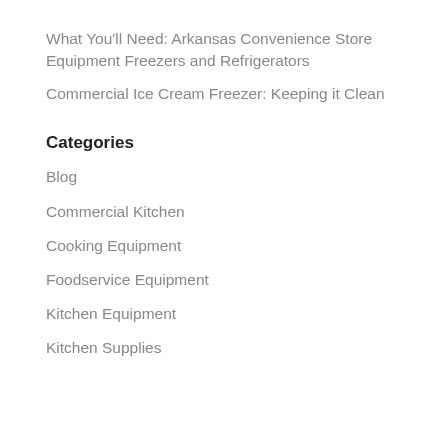What You'll Need: Arkansas Convenience Store Equipment Freezers and Refrigerators
Commercial Ice Cream Freezer: Keeping it Clean
Categories
Blog
Commercial Kitchen
Cooking Equipment
Foodservice Equipment
Kitchen Equipment
Kitchen Supplies